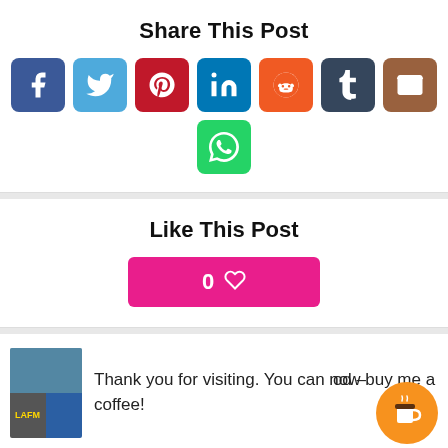Share This Post
[Figure (infographic): Row of social media share buttons: Facebook, Twitter, Pinterest, LinkedIn, Reddit, Tumblr, Email, and WhatsApp]
Like This Post
[Figure (infographic): Pink like button showing 0 with a heart icon]
Thank you for visiting. You can now buy me a coffee!
[Figure (infographic): Orange circular coffee cup button in bottom right corner]